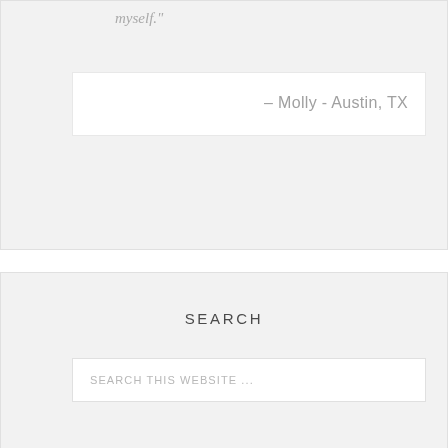myself."
– Molly - Austin, TX
SEARCH
SEARCH THIS WEBSITE ...